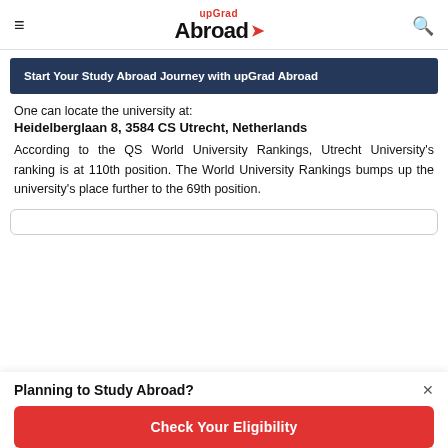upGrad Abroad
Start Your Study Abroad Journey with upGrad Abroad
One can locate the university at:
Heidelberglaan 8, 3584 CS Utrecht, Netherlands
According to the QS World University Rankings, Utrecht University's ranking is at 110th position. The World University Rankings bumps up the university's place further to the 69th position.
Planning to Study Abroad?
Check Your Eligibility